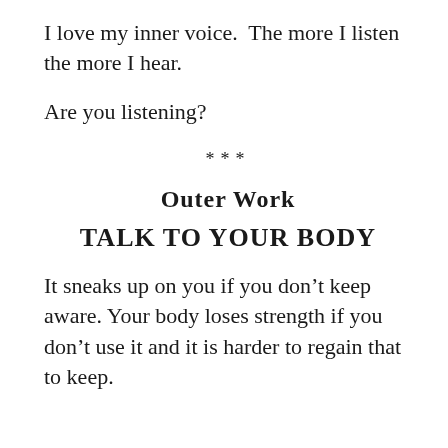I love my inner voice.  The more I listen the more I hear.
Are you listening?
***
Outer Work
TALK TO YOUR BODY
It sneaks up on you if you don’t keep aware. Your body loses strength if you don’t use it and it is harder to regain that to keep.